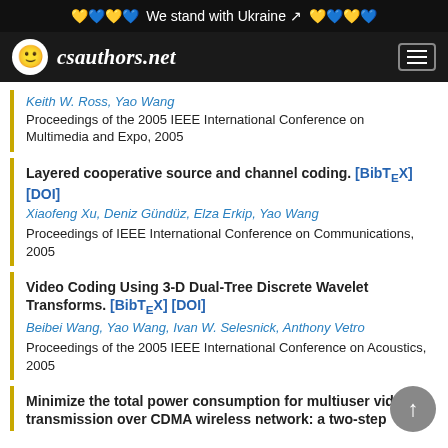We stand with Ukraine
[Figure (logo): csauthors.net logo with smiley face icon and hamburger menu]
Keith W. Ross, Yao Wang
Proceedings of the 2005 IEEE International Conference on Multimedia and Expo, 2005
Layered cooperative source and channel coding. [BibTeX] [DOI]
Xiaofeng Xu, Deniz Gündüz, Elza Erkip, Yao Wang
Proceedings of IEEE International Conference on Communications, 2005
Video Coding Using 3-D Dual-Tree Discrete Wavelet Transforms. [BibTeX] [DOI]
Beibei Wang, Yao Wang, Ivan W. Selesnick, Anthony Vetro
Proceedings of the 2005 IEEE International Conference on Acoustics, 2005
Minimize the total power consumption for multiuser video transmission over CDMA wireless network: a two-step